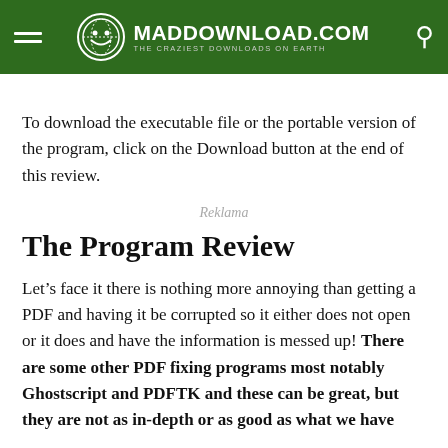MADDOWNLOAD.COM THE CRAZIEST DOWNLOADS ON EARTH
To download the executable file or the portable version of the program, click on the Download button at the end of this review.
Reklama
The Program Review
Let’s face it there is nothing more annoying than getting a PDF and having it be corrupted so it either does not open or it does and have the information is messed up! There are some other PDF fixing programs most notably Ghostscript and PDFTK and these can be great, but they are not as in-depth or as good as what we have